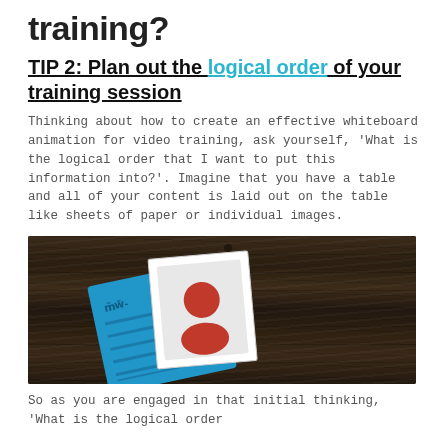training?
TIP 2: Plan out the logical order of your training session
Thinking about how to create an effective whiteboard animation for video training, ask yourself, 'What is the logical order that I want to put this information into?'. Imagine that you have a table and all of your content is laid out on the table like sheets of paper or individual images.
[Figure (photo): A dark wood table surface with a blue illustrated resume/document card featuring a red person icon photograph clipped to the document, representing content laid out on a table.]
So as you are engaged in that initial thinking, 'What is the logical order...